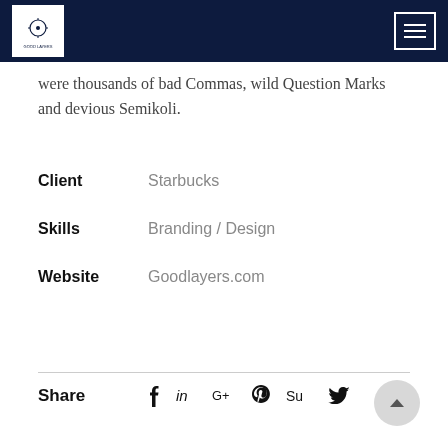[Navigation bar with logo and menu icon]
were thousands of bad Commas, wild Question Marks and devious Semikoli.
Client   Starbucks
Skills   Branding / Design
Website   Goodlayers.com
Share  f  in  G+  p  Su  twitter